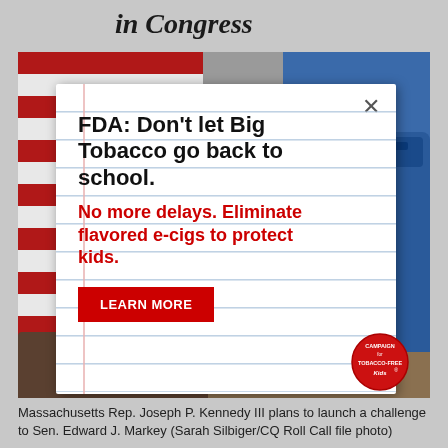in Congress
[Figure (photo): A photograph showing an American flag background (red and white stripes) with a blue backpack on the right side. An advertisement popup overlays the image. The ad reads: 'FDA: Don't let Big Tobacco go back to school. No more delays. Eliminate flavored e-cigs to protect kids.' with a 'LEARN MORE' button and a Campaign for Tobacco-Free Kids badge.]
Massachusetts Rep. Joseph P. Kennedy III plans to launch a challenge to Sen. Edward J. Markey (Sarah Silbiger/CQ Roll Call file photo)